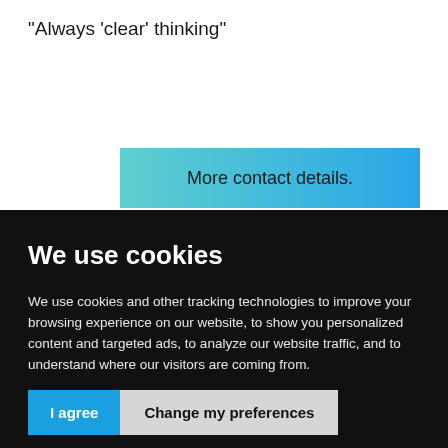“Always ‘clear’ thinking”
[Figure (screenshot): A button with a teal-to-blue gradient reading 'More contact details.']
We use cookies
We use cookies and other tracking technologies to improve your browsing experience on our website, to show you personalized content and targeted ads, to analyze our website traffic, and to understand where our visitors are coming from.
I agree | Change my preferences